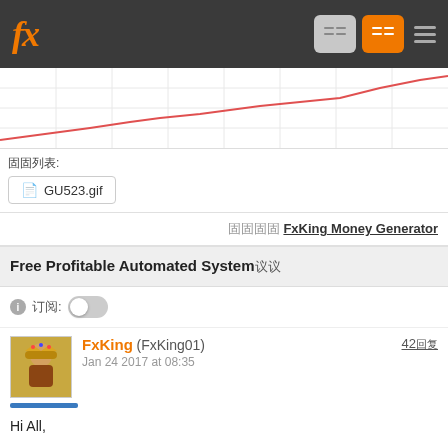fx (logo) navigation bar
[Figure (line-chart): Line chart showing upward trending curve, red/pink line on white gridded background]
附件列表:
GU523.gif
来自 FxKing Money Generator
Free Profitable Automated System讨论
订阅:
FxKing (FxKing01) Jan 24 2017 at 08:35
42回复
Hi All,

You can get this Automated profitable system for free if you open a real account under my IB link.